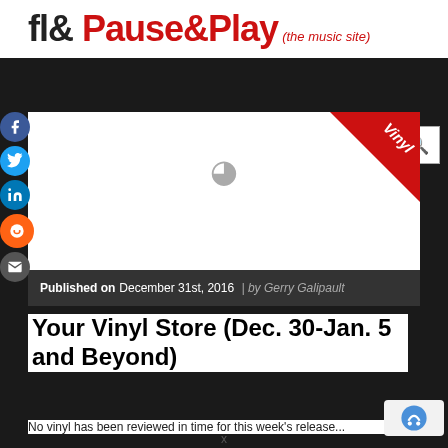fl& Pause&Play (the music site)
[Figure (screenshot): Navigation dropdown button and search box]
[Figure (other): Vinyl badge corner ribbon in red]
[Figure (other): Loading spinner icon]
Published on December 31st, 2016 | by Gerry Galipault
Your Vinyl Store (Dec. 30-Jan. 5 and Beyond)
No vinyl has been reviewed in time for this week's release...